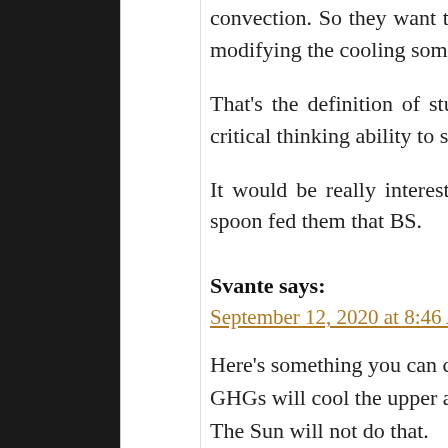convection. So they want to analogize something with the characteristic of modifying the cooling something that does modify that rate.
That's the definition of stupidity. Obviously fe And they lack the critical thinking ability to sp
It would be really interesting to know who the scientist was that spoon fed them that BS.
Svante says:
September 12, 2020 at 8:46 AM
Here's something you can check up in the UAH GHGs will cool the upper atmosphere and war The Sun will not do that.
Geothermal energy will not do that.
More clouds will not.
Recovery from the little ice will not.
Will your leprechauns do it?